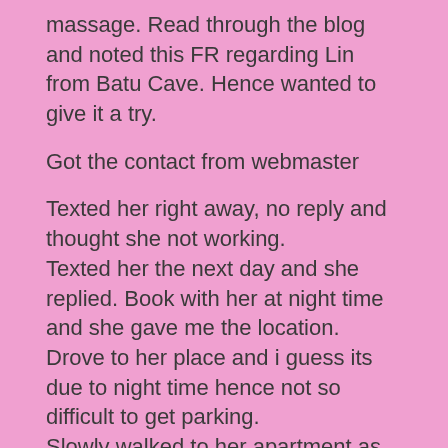massage. Read through the blog and noted this FR regarding Lin from Batu Cave. Hence wanted to give it a try.
Got the contact from webmaster
Texted her right away, no reply and thought she not working.
Texted her the next day and she replied. Book with her at night time and she gave me the location.
Drove to her place and i guess its due to night time hence not so difficult to get parking.
Slowly walked to her apartment as per instructed.
First impression….not really my type (for the face), but as per other brother's report she is very friendly.
She invited me in and served me a bottle mineral water